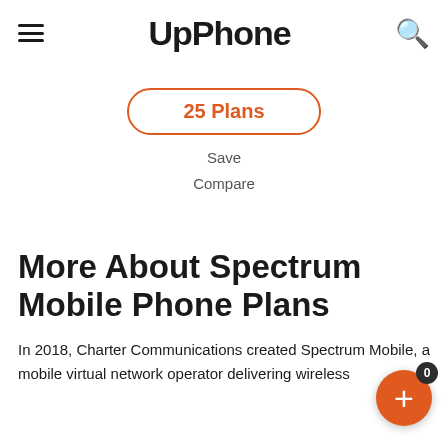UpPhone
25 Plans
Save
Compare
More About Spectrum Mobile Phone Plans
In 2018, Charter Communications created Spectrum Mobile, a mobile virtual network operator delivering wireless